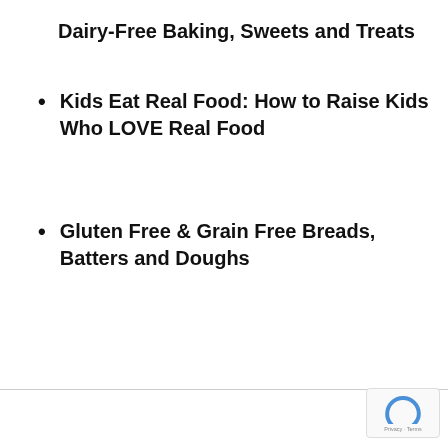Dairy-Free Baking, Sweets and Treats
Kids Eat Real Food: How to Raise Kids Who LOVE Real Food
Gluten Free & Grain Free Breads, Batters and Doughs